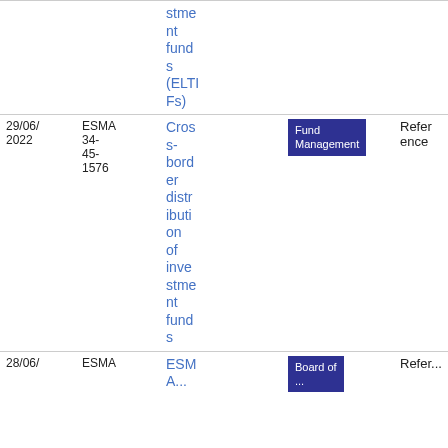| Date | Reference | Title | Type | Kind | File |
| --- | --- | --- | --- | --- | --- |
|  |  | stment funds (ELTIFs) |  |  |  |
| 29/06/2022 | ESMA 34-45-1576 | Cross-border distribution of investment funds | Fund Management | Reference | PDF 991.03 KB |
| 28/06/ | ESMA | ESMA... | Board of ... | Refer... | PD... |